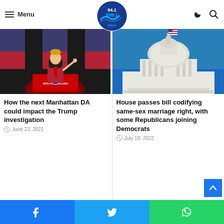Menu | 94.1 B 95.1 The Wave logo | dark mode | search
Related Posts
[Figure (photo): Man in suit pointing finger at podium with North Carolina signage, American flags in background]
How the next Manhattan DA could impact the Trump investigation
June 23, 2021
[Figure (photo): US Capitol building dome with American flag, blue sky background]
House passes bill codifying same-sex marriage right, with some Republicans joining Democrats
July 19, 2022
Facebook share | Twitter share | WhatsApp share